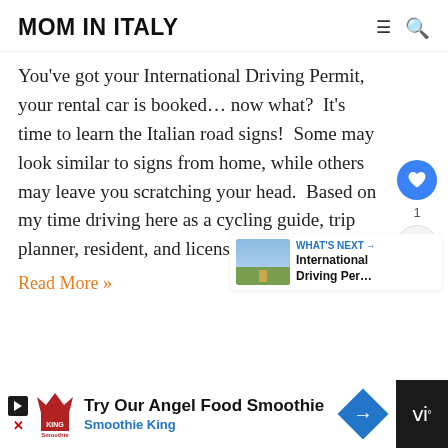MOM IN ITALY
You've got your International Driving Permit, your rental car is booked… now what?  It's time to learn the Italian road signs!  Some may look similar to signs from home, while others may leave you scratching your head.  Based on my time driving here as a cycling guide, trip planner, resident, and licensed driver, I feel …
Read More »
[Figure (other): What's Next promo box with thumbnail image of countryside road and text 'International Driving Per...']
[Figure (other): Advertisement bar: Try Our Angel Food Smoothie - Smoothie King, with play button and close button on left, blue diamond with arrow icon on right, dark panel on far right with tally marks and degree symbol]